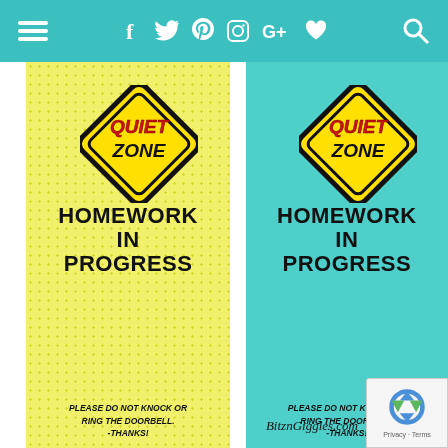[Figure (screenshot): Website navigation bar with menu icon, social media icons (Facebook, Twitter, Pinterest, Instagram, Google+, heart/favorites), and search icon on teal background]
[Figure (illustration): Two door hanger signs side by side. Left sign on yellow dotted background, right sign on teal background. Each has a yellow diamond-shaped 'QUIET ZONE' road sign at top, followed by 'HOMEWORK IN PROGRESS' in large bold black text, then 'PLEASE DO NOT KNOCK OR RING THE DOORBELL. -THANKS!' in small bold italic text. Watermark reads BitznGiggles.com at bottom right.]